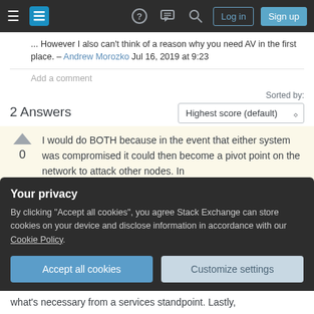Stack Exchange navigation bar with hamburger menu, logo, help, chat, search icons, Log in and Sign up buttons
... However I also can't think of a reason why you need AV in the first place. – Andrew Morozko Jul 16, 2019 at 9:23
Add a comment
Sorted by:
2 Answers
Highest score (default)
I would do BOTH because in the event that either system was compromised it could then become a pivot point on the network to attack other nodes. In
Your privacy
By clicking "Accept all cookies", you agree Stack Exchange can store cookies on your device and disclose information in accordance with our Cookie Policy.
Accept all cookies
Customize settings
what's necessary from a services standpoint. Lastly,